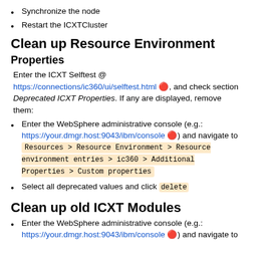Synchronize the node
Restart the ICXTCluster
Clean up Resource Environment
Properties
Enter the ICXT Selftest @ https://connections/ic360/ui/selftest.html 🔴, and check section Deprecated ICXT Properties. If any are displayed, remove them:
Enter the WebSphere administrative console (e.g.: https://your.dmgr.host:9043/ibm/console 🔴) and navigate to Resources > Resource Environment > Resource environment entries > ic360 > Additional Properties > Custom properties
Select all deprecated values and click delete
Clean up old ICXT Modules
Enter the WebSphere administrative console (e.g.: https://your.dmgr.host:9043/ibm/console 🔴) and navigate to